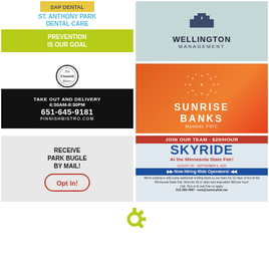[Figure (logo): St. Anthony Park Dental Care ad - Prevention Is Our Goal]
[Figure (logo): Wellington Management logo on light teal background]
[Figure (logo): The Finnish Bistro - Take Out and Delivery 6:30AM-8:30PM 651-645-9181 FINNISHBISTRO.COM]
[Figure (logo): Sunrise Banks - Member FDIC on orange gradient background]
[Figure (logo): Receive Park Bugle By Mail! Opt In!]
[Figure (logo): SkyRide at the Minnesota State Fair - Join Our Team $20/Hour - Now Hiring Ride Operators]
[Figure (logo): Rotary gear logo at bottom center]